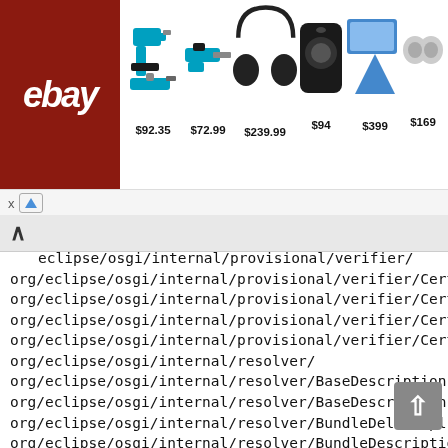[Figure (screenshot): eBay advertisement banner showing power tools, headphones, speaker, laptop and earbuds with prices $92.35, $72.99, $239.99, $94, $399, $169]
org/eclipse/osgi/internal/provisional/verifier/
org/eclipse/osgi/internal/provisional/verifier/Cert
org/eclipse/osgi/internal/provisional/verifier/Cert
org/eclipse/osgi/internal/provisional/verifier/Cert
org/eclipse/osgi/internal/provisional/verifier/Cert
org/eclipse/osgi/internal/resolver/
org/eclipse/osgi/internal/resolver/BaseDescription
org/eclipse/osgi/internal/resolver/BaseDescription
org/eclipse/osgi/internal/resolver/BundleDeltaImpl
org/eclipse/osgi/internal/resolver/BundleDescriptio
org/eclipse/osgi/internal/resolver/BundleDescriptio
org/eclipse/osgi/internal/resolver/BundleDescriptio
org/eclipse/osgi/internal/resolver/BundleDescriptio
org/eclipse/osgi/internal/resolver/BundleSpecifica